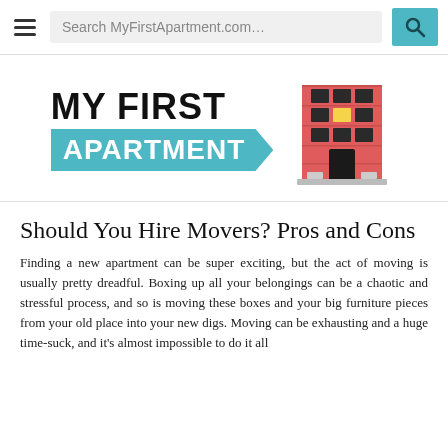Search MyFirstApartment.com…
[Figure (logo): My First Apartment logo with teal arrow shape and illustrated apartment building]
Should You Hire Movers? Pros and Cons
Finding a new apartment can be super exciting, but the act of moving is usually pretty dreadful. Boxing up all your belongings can be a chaotic and stressful process, and so is moving these boxes and your big furniture pieces from your old place into your new digs. Moving can be exhausting and a huge time-suck, and it's almost impossible to do it all